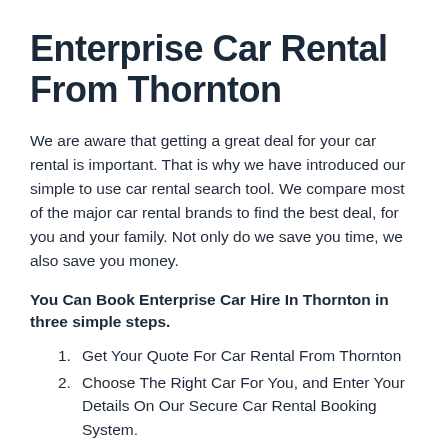Enterprise Car Rental From Thornton
We are aware that getting a great deal for your car rental is important. That is why we have introduced our simple to use car rental search tool. We compare most of the major car rental brands to find the best deal, for you and your family. Not only do we save you time, we also save you money.
You Can Book Enterprise Car Hire In Thornton in three simple steps.
Get Your Quote For Car Rental From Thornton
Choose The Right Car For You, and Enter Your Details On Our Secure Car Rental Booking System.
Your Car Rental Booking Is Confirmed On Screen Right Away.